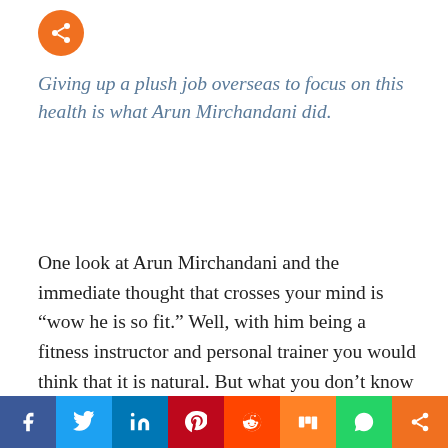[Figure (logo): Orange circular share button icon at top left]
Giving up a plush job overseas to focus on this health is what Arun Mirchandani did.
One look at Arun Mirchandani and the immediate thought that crosses your mind is “wow he is so fit.” Well, with him being a fitness instructor and personal trainer you would think that it is natural. But what you don’t know is that Arun has given up a corporate job in the Gulf and returned to India and
f  Twitter  in  Pinterest  Reddit  Mix  WhatsApp  Share